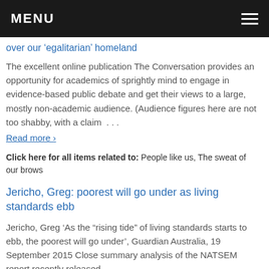MENU
over our ‘egalitarian’ homeland
The excellent online publication The Conversation provides an opportunity for academics of sprightly mind to engage in evidence-based public debate and get their views to a large, mostly non-academic audience. (Audience figures here are not too shabby, with a claim …
Read more ›
Click here for all items related to: People like us, The sweat of our brows
Jericho, Greg: poorest will go under as living standards ebb
Jericho, Greg ‘As the “rising tide” of living standards starts to ebb, the poorest will go under’, Guardian Australia, 19 September 2015 Close summary analysis of the NATSEM report recently released.